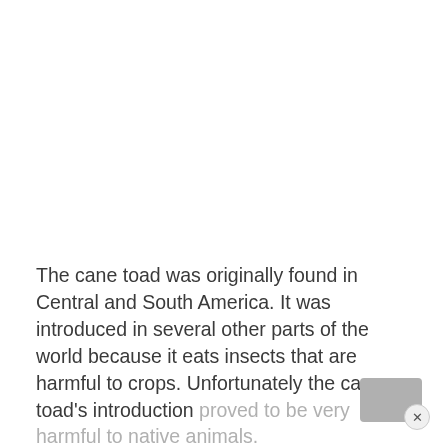The cane toad was originally found in Central and South America. It was introduced in several other parts of the world because it eats insects that are harmful to crops. Unfortunately the cane toad's introduction proved to be very harmful to native animals. It is now seen as an invasive species.